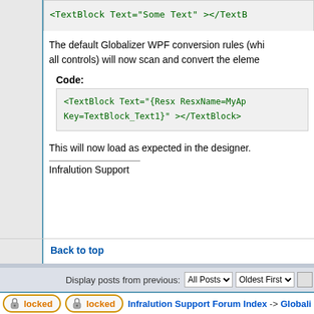<TextBlock Text="Some Text" ></TextB
The default Globalizer WPF conversion rules (whi all controls) will now scan and convert the elem
Code:
<TextBlock Text="{Resx ResxName=MyAp
Key=TextBlock_Text1}"  ></TextBlock>
This will now load as expected in the designer.
Infralution Support
Back to top
Display posts from previous:
locked
locked
Infralution Support Forum Index -> Globalizer
Page 1 of 1
Jump to:
You
Yo
You